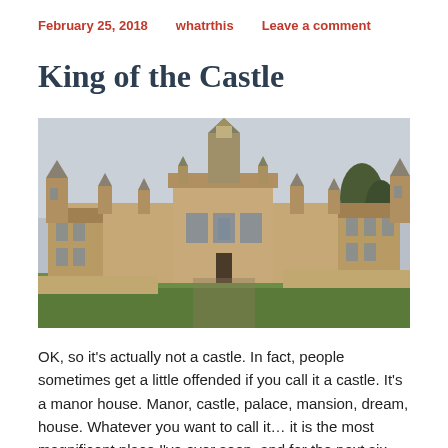February 25, 2018   whatrthis   Leave a comment
King of the Castle
[Figure (photo): A large English manor house / stately home, photographed from the front showing its ornate Gothic Revival facade with towers, spires, and mullioned windows. Green lawn in foreground, grey sky behind.]
OK, so it's actually not a castle. In fact, people sometimes get a little offended if you call it a castle. It's a manor house. Manor, castle, palace, mansion, dream, house. Whatever you want to call it… it is the most magnificent place I've ever seen, and for the next six months, I get to… Read More